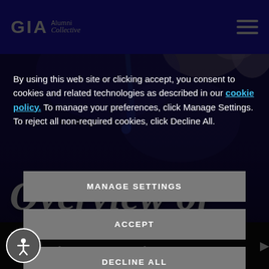GIA Alumni Collective
[Figure (photo): Close-up photo of hands using a gemological instrument to examine a gemstone, with a purple-blue dark overlay]
Overview of
Laboratory-Grown Colored Diamonds & Synthetic Diamonds
By using this web site or clicking accept, you consent to cookies and related technologies as described in our cookie policy. To manage your preferences, click Manage Settings. To reject all non-required cookies, click Decline All.
MANAGE SETTINGS
ACCEPT
DECLINE ALL
Register Now
Collective Community